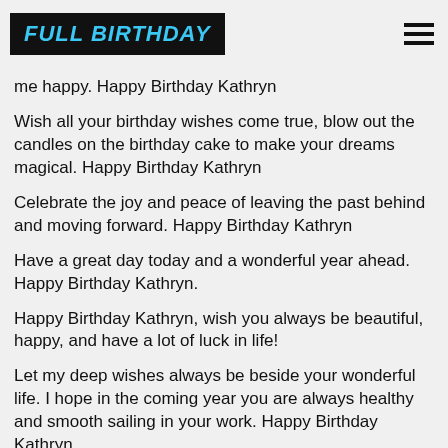FULL BIRTHDAY
me happy. Happy Birthday Kathryn
Wish all your birthday wishes come true, blow out the candles on the birthday cake to make your dreams magical. Happy Birthday Kathryn
Celebrate the joy and peace of leaving the past behind and moving forward. Happy Birthday Kathryn
Have a great day today and a wonderful year ahead. Happy Birthday Kathryn.
Happy Birthday Kathryn, wish you always be beautiful, happy, and have a lot of luck in life!
Let my deep wishes always be beside your wonderful life. I hope in the coming year you are always healthy and smooth sailing in your work. Happy Birthday Kathryn
Wish you have wonderful moments with friends and relatives on this important day. Hope you are always